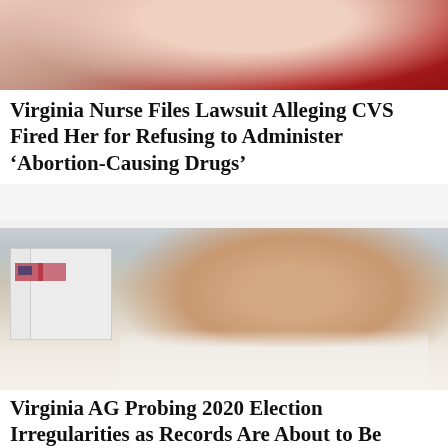[Figure (photo): Partial photo of a person near red/pink fabric or clothing, cropped at top]
Virginia Nurse Files Lawsuit Alleging CVS Fired Her for Refusing to Administer ‘Abortion-Causing Drugs’
[Figure (photo): Photo of a smiling man in a white dress shirt and red striped tie, standing in front of white boxes with American flags, appearing to be in a voting or polling location]
Virginia AG Probing 2020 Election Irregularities as Records Are About to Be Destroyed